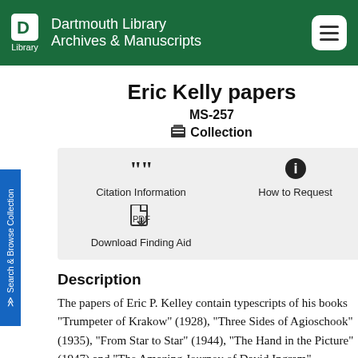Dartmouth Library Archives & Manuscripts
Eric Kelly papers
MS-257
Collection
Citation Information
How to Request
Download Finding Aid
Description
The papers of Eric P. Kelley contain typescripts of his books "Trumpeter of Krakow" (1928), "Three Sides of Agioschook" (1935), "From Star to Star" (1944), "The Hand in the Picture" (1947) and "The Amazing Journey of David Ingram"